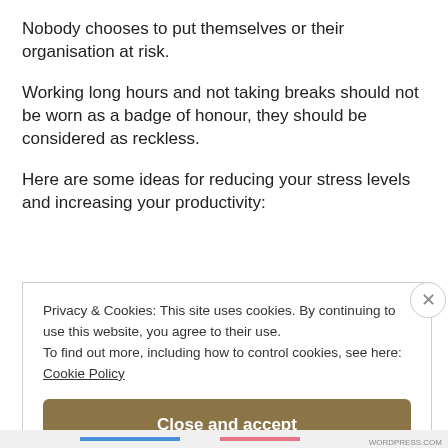Nobody chooses to put themselves or their organisation at risk.
Working long hours and not taking breaks should not be worn as a badge of honour, they should be considered as reckless.
Here are some ideas for reducing your stress levels and increasing your productivity:
Privacy & Cookies: This site uses cookies. By continuing to use this website, you agree to their use.
To find out more, including how to control cookies, see here: Cookie Policy
Close and accept